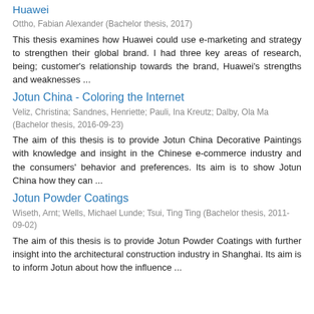Huawei
Ottho, Fabian Alexander (Bachelor thesis, 2017)
This thesis examines how Huawei could use e-marketing and strategy to strengthen their global brand. I had three key areas of research, being; customer's relationship towards the brand, Huawei's strengths and weaknesses ...
Jotun China - Coloring the Internet
Veliz, Christina; Sandnes, Henriette; Pauli, Ina Kreutz; Dalby, Ola Ma (Bachelor thesis, 2016-09-23)
The aim of this thesis is to provide Jotun China Decorative Paintings with knowledge and insight in the Chinese e-commerce industry and the consumers' behavior and preferences. Its aim is to show Jotun China how they can ...
Jotun Powder Coatings
Wiseth, Arnt; Wells, Michael Lunde; Tsui, Ting Ting (Bachelor thesis, 2011-09-02)
The aim of this thesis is to provide Jotun Powder Coatings with further insight into the architectural construction industry in Shanghai. Its aim is to inform Jotun about how the influence ...